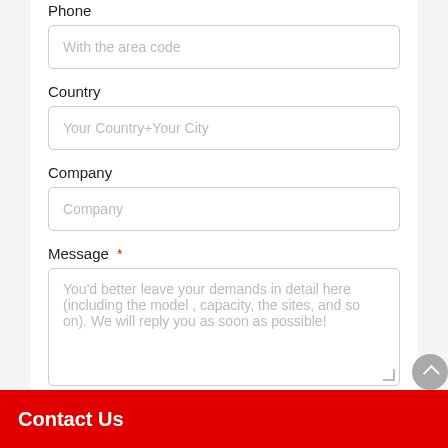Phone
With the area code
Country
Your Country+Your City
Company
Company
Message *
You'd better leave your demands in detail here (including the model , capacity, the sites, and so on). We will reply you as soon as possible!
Contact Us